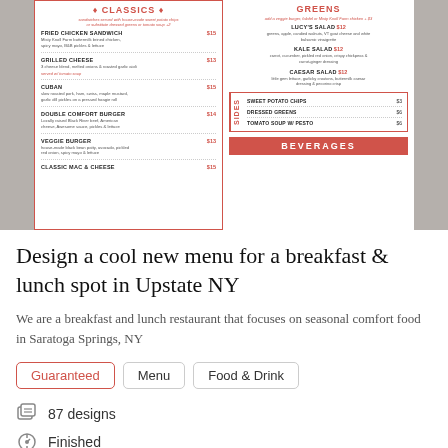[Figure (photo): A restaurant menu showing CLASSICS and GREENS sections with items and prices, plus a SIDES box and BEVERAGES bar at the bottom.]
Design a cool new menu for a breakfast & lunch spot in Upstate NY
We are a breakfast and lunch restaurant that focuses on seasonal comfort food in Saratoga Springs, NY
Guaranteed
Menu
Food & Drink
87 designs
Finished